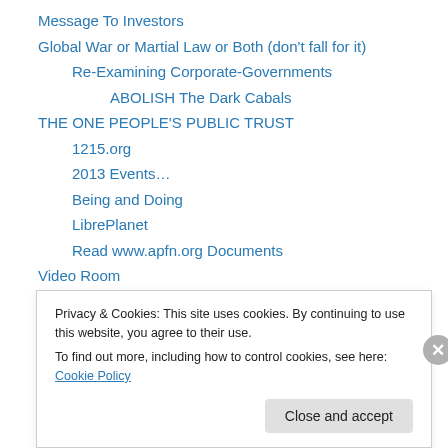Message To Investors
Global War or Martial Law or Both (don't fall for it)
Re-Examining Corporate-Governments
ABOLISH The Dark Cabals
THE ONE PEOPLE'S PUBLIC TRUST
1215.org
2013 Events…
Being and Doing
LibrePlanet
Read www.apfn.org Documents
Video Room
Alternative News
DOCUMENTS
Privacy & Cookies: This site uses cookies. By continuing to use this website, you agree to their use.
To find out more, including how to control cookies, see here: Cookie Policy